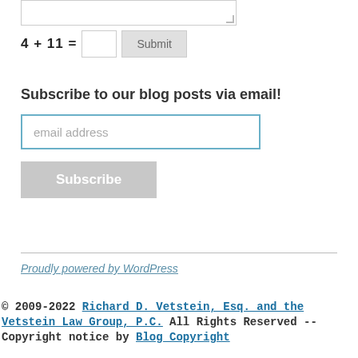4 + 11 =  [input]  Submit
Subscribe to our blog posts via email!
email address
Subscribe
Proudly powered by WordPress
© 2009-2022 Richard D. Vetstein, Esq. and the Vetstein Law Group, P.C. All Rights Reserved -- Copyright notice by Blog Copyright